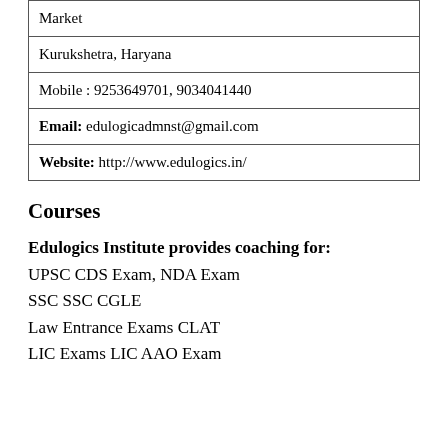| Market |
| Kurukshetra, Haryana |
| Mobile : 9253649701, 9034041440 |
| Email: edulogicadmnst@gmail.com |
| Website: http://www.edulogics.in/ |
Courses
Edulogics Institute provides coaching for:
UPSC CDS Exam, NDA Exam
SSC SSC CGLE
Law Entrance Exams CLAT
LIC Exams LIC AAO Exam